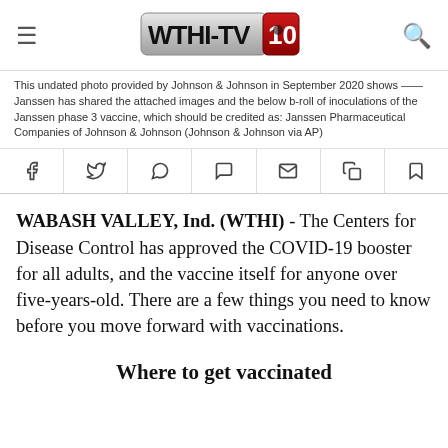WTHI-TV 10
This undated photo provided by Johnson & Johnson in September 2020 shows —— Janssen has shared the attached images and the below b-roll of inoculations of the Janssen phase 3 vaccine, which should be credited as: Janssen Pharmaceutical Companies of Johnson & Johnson (Johnson & Johnson via AP)
[Figure (other): Social sharing buttons: Facebook, Twitter, WhatsApp, Comments, Email, Copy, Bookmark]
WABASH VALLEY, Ind. (WTHI) - The Centers for Disease Control has approved the COVID-19 booster for all adults, and the vaccine itself for anyone over five-years-old. There are a few things you need to know before you move forward with vaccinations.
Where to get vaccinated